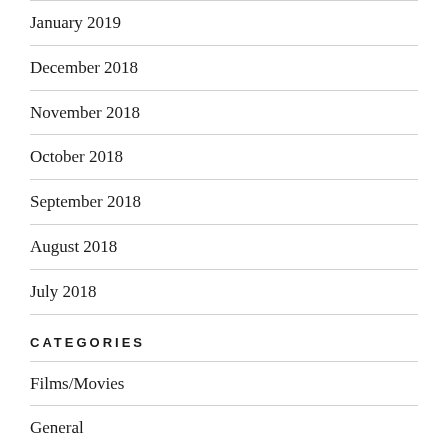January 2019
December 2018
November 2018
October 2018
September 2018
August 2018
July 2018
CATEGORIES
Films/Movies
General